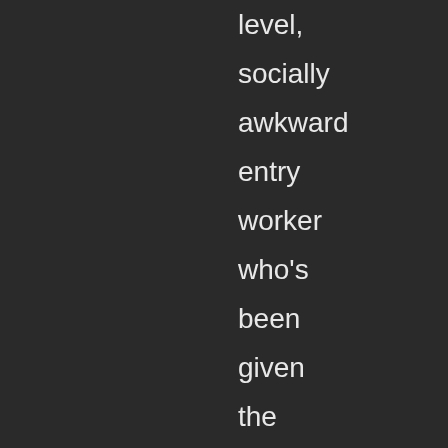level, socially awkward entry worker who's been given the bare minimum amount of information she needs to get her job done. Grim Reaping